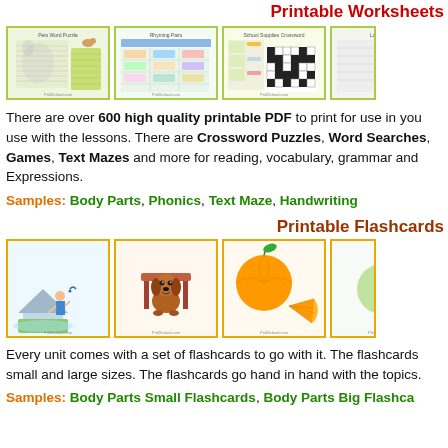Printable Worksheets
[Figure (illustration): Row of four printable worksheet thumbnail previews including word puzzle, rhyming pairs, school supplies crossword, and another worksheet]
There are over 600 high quality printable PDF to print for use in you use with the lessons. There are Crossword Puzzles, Word Searches, Games, Text Mazes and more for reading, vocabulary, grammar and Expressions.
Samples: Body Parts, Phonics, Text Maze, Handwriting
Printable Flashcards
[Figure (illustration): Row of four printable flashcard thumbnail previews including a person on a house illustration, a dog with a table, an orange fruit, and a partial fourth card]
Every unit comes with a set of flashcards to go with it. The flashcards small and large sizes. The flashcards go hand in hand with the topics.
Samples: Body Parts Small Flashcards, Body Parts Big Flashcards